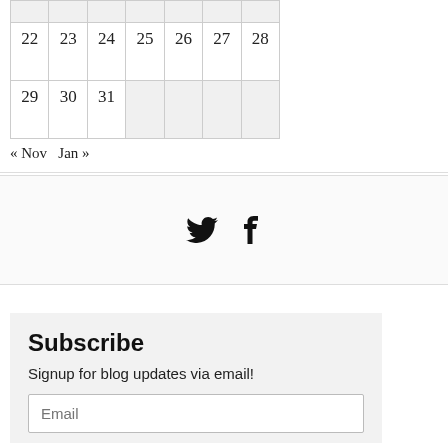|  |  |  |  |  |  |  |
| 22 | 23 | 24 | 25 | 26 | 27 | 28 |
| 29 | 30 | 31 |  |  |  |  |
« Nov   Jan »
[Figure (other): Social media icons: Twitter bird and Facebook f]
Subscribe
Signup for blog updates via email!
Email